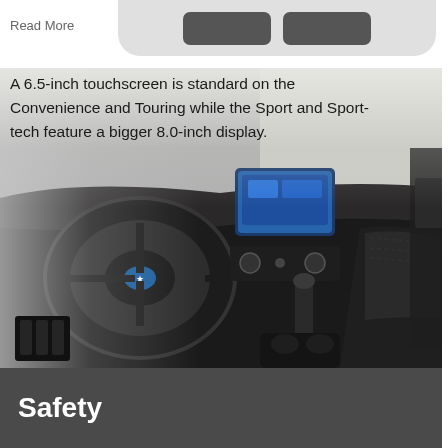Read More
[Figure (photo): Interior view of a Subaru vehicle showing the dashboard, steering wheel with Subaru logo, infotainment touchscreen, center console, gear shifter, and front passenger seat. The image is slightly faded/washed out.]
A 6.5-inch touchscreen is standard on the Convenience and Touring while the Sport and Sport-tech feature a bigger 8.0-inch display.
Safety